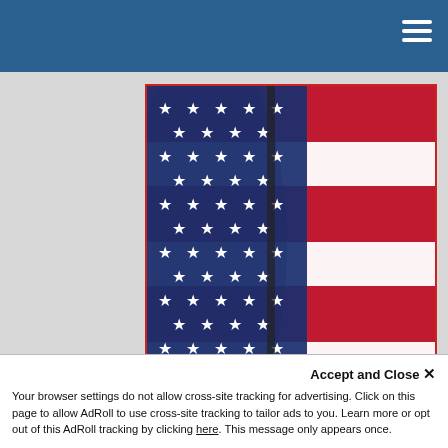[Figure (photo): Close-up photograph of the American flag (stars and stripes) with a blue 'LEARN MORE' button overlaid at the bottom]
Accept and Close ✕
Your browser settings do not allow cross-site tracking for advertising. Click on this page to allow AdRoll to use cross-site tracking to tailor ads to you. Learn more or opt out of this AdRoll tracking by clicking here. This message only appears once.